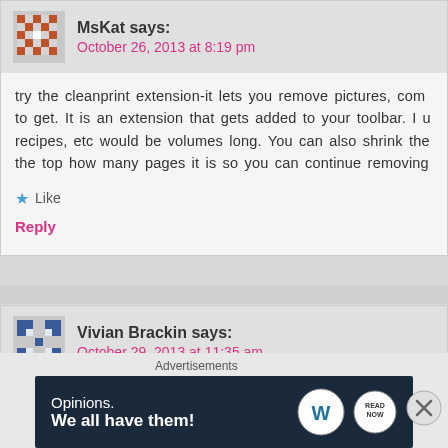MsKat says:
October 26, 2013 at 8:19 pm
try the cleanprint extension-it lets you remove pictures, com to get. It is an extension that gets added to your toolbar. I u recipes, etc would be volumes long. You can also shrink the the top how many pages it is so you can continue removing
★ Like
Reply
Vivian Brackin says:
October 29, 2013 at 11:35 am
I lost 3 whole stitches after completing the first star row! How hardest project I have ever worked on... I keep having to
Advertisements
[Figure (screenshot): WordPress advertisement banner with text 'Opinions. We all have them!' and WordPress logo]